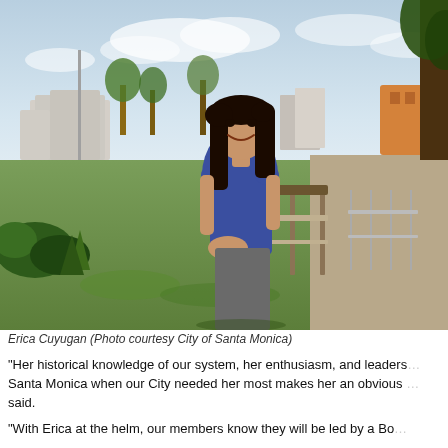[Figure (photo): Woman in blue top smiling and leaning on a railing outdoors with green park, city buildings, and trees in background. Identified as Erica Cuyugan.]
Erica Cuyugan (Photo courtesy City of Santa Monica)
"Her historical knowledge of our system, her enthusiasm, and leadership at Santa Monica when our City needed her most makes her an obvious choice," said.
"With Erica at the helm, our members know they will be led by a Boa...